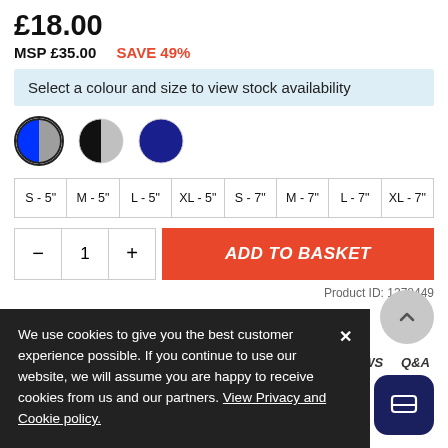£18.00
MSP £35.00 SAVE 49%
Select a colour and size to view stock availability
[Figure (illustration): Three colour swatches: blue/grey split circle (selected, with border), black/grey split circle, and solid navy blue circle]
| S - 5" | M - 5" | L - 5" | XL - 5" | S - 7" | M - 7" | L - 7" | XL - 7" |
| --- | --- | --- | --- | --- | --- | --- | --- |
— 1 + ADD TO BASKET
Product ID: 1378449
REVIEWS Q&A
We use cookies to give you the best customer experience possible. If you continue to use our website, we will assume you are happy to receive cookies from us and our partners. View Privacy and Cookie policy.